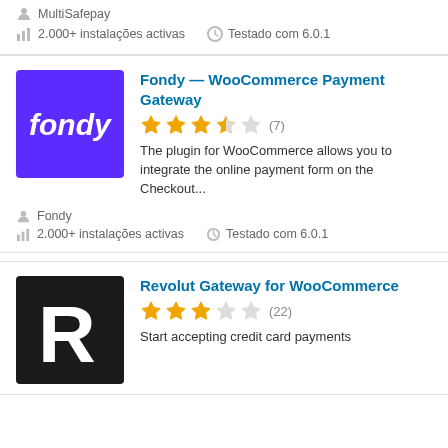MultiSafepay
2.000+ instalações activas   Testado com 6.0.1
Fondy — WooCommerce Payment Gateway
★★★★☆ (7)
The plugin for WooCommerce allows you to integrate the online payment form on the Checkout...
Fondy
2.000+ instalações activas   Testado com 6.0.1
Revolut Gateway for WooCommerce
★★★☆☆ (22)
Start accepting credit card payments